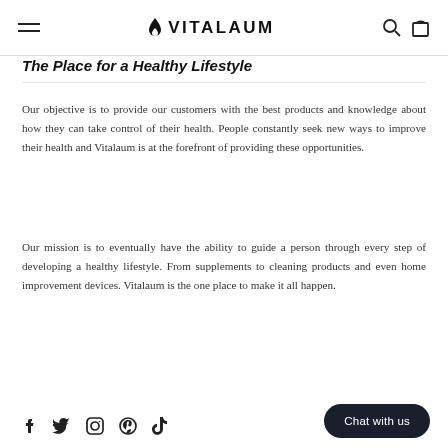VITALAUM
The Place for a Healthy Lifestyle
Our objective is to provide our customers with the best products and knowledge about how they can take control of their health. People constantly seek new ways to improve their health and Vitalaum is at the forefront of providing these opportunities.
Our mission is to eventually have the ability to guide a person through every step of developing a healthy lifestyle. From supplements to cleaning products and even home improvement devices. Vitalaum is the one place to make it all happen.